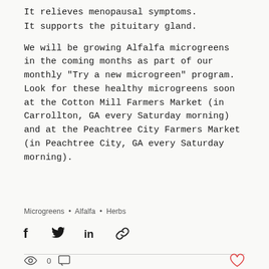It relieves menopausal symptoms.
It supports the pituitary gland.
We will be growing Alfalfa microgreens in the coming months as part of our monthly "Try a new microgreen" program.  Look for these healthy microgreens soon at the Cotton Mill Farmers Market (in Carrollton, GA every Saturday morning) and at the Peachtree City Farmers Market (in Peachtree City, GA every Saturday morning).
Microgreens • Alfalfa • Herbs
[Figure (infographic): Social share icons: Facebook, Twitter, LinkedIn, and a link/chain icon]